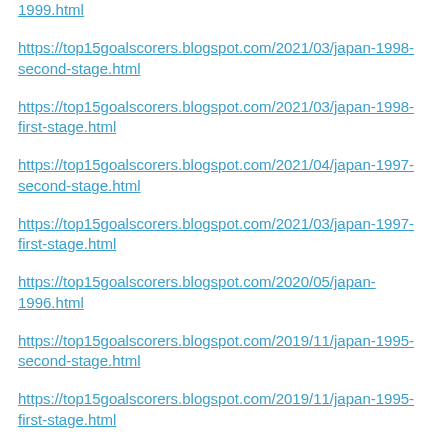https://top15goalscorers.blogspot.com/2021/03/japan-1999.html
https://top15goalscorers.blogspot.com/2021/03/japan-1998-second-stage.html
https://top15goalscorers.blogspot.com/2021/03/japan-1998-first-stage.html
https://top15goalscorers.blogspot.com/2021/04/japan-1997-second-stage.html
https://top15goalscorers.blogspot.com/2021/03/japan-1997-first-stage.html
https://top15goalscorers.blogspot.com/2020/05/japan-1996.html
https://top15goalscorers.blogspot.com/2019/11/japan-1995-second-stage.html
https://top15goalscorers.blogspot.com/2019/11/japan-1995-first-stage.html
https://top15goalscorers.blogspot.com/2017/08/japan-